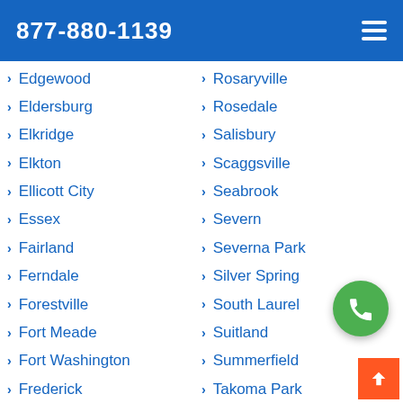877-880-1139
Edgewood
Eldersburg
Elkridge
Elkton
Ellicott City
Essex
Fairland
Ferndale
Forestville
Fort Meade
Fort Washington
Frederick
Friendly
Gaithersburg
Germantown
Rosaryville
Rosedale
Salisbury
Scaggsville
Seabrook
Severn
Severna Park
Silver Spring
South Laurel
Suitland
Summerfield
Takoma Park
Timonium
Towson
Travilah